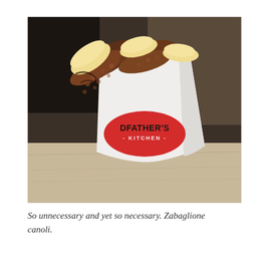[Figure (photo): A close-up photo of a white paper food cone branded with 'GODFATHER'S KITCHEN' logo (red oval with black text) sitting on a wooden surface, filled with canoli shells and zabaglione cream filling visible at the top.]
So unnecessary and yet so necessary. Zabaglione canoli.